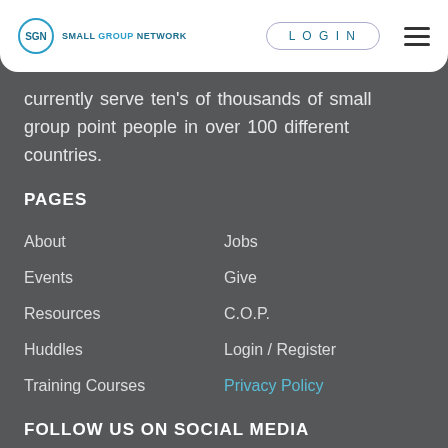SGN Small Group Network | LOGIN
currently serve ten's of thousands of small group point people in over 100 different countries.
PAGES
About
Jobs
Events
Give
Resources
C.O.P.
Huddles
Login / Register
Training Courses
Privacy Policy
FOLLOW US ON SOCIAL MEDIA
[Figure (other): Row of social media icon buttons (partially visible at bottom)]